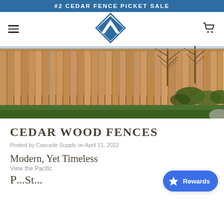#2 CEDAR FENCE PICKET SALE
[Figure (logo): Cascade Supply diamond logo with mountain peak in blue and white]
[Figure (photo): Photo of a cedar wood fence with vertical pickets and trees/shrubs in background]
CEDAR WOOD FENCES
Posted by Cascade Supply on April 11, 2022
Modern, Yet Timeless
View the Pacific
P...St...